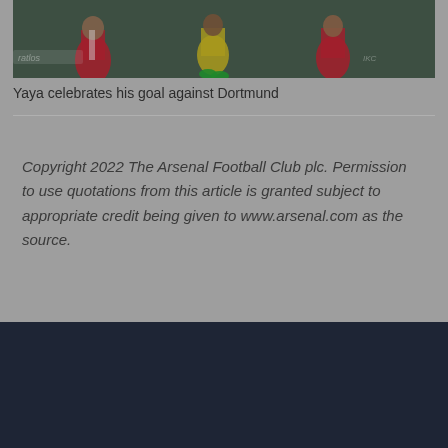[Figure (photo): Football players celebrating a goal, one in a red and white striped jersey, action shot on a pitch]
Yaya celebrates his goal against Dortmund
Copyright 2022 The Arsenal Football Club plc. Permission to use quotations from this article is granted subject to appropriate credit being given to www.arsenal.com as the source.
LATEST MEN NEWS